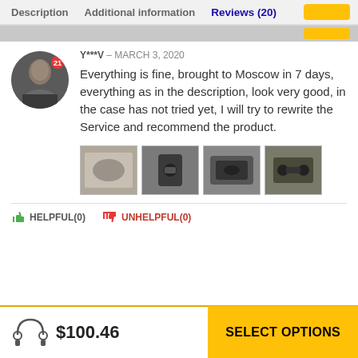Description   Additional information   Reviews (20)
Y***V – MARCH 3, 2020
Everything is fine, brought to Moscow in 7 days, everything as in the description, look very good, in the case has not tried yet, I will try to rewrite the Service and recommend the product.
[Figure (photo): Four thumbnail photos of the product submitted by the reviewer]
HELPFUL(0)   UNHELPFUL(0)
$100.46
SELECT OPTIONS